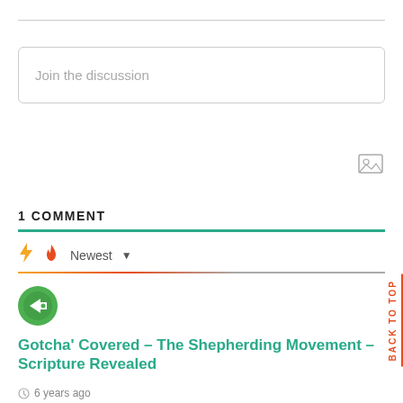Join the discussion
1 COMMENT
Newest
[Figure (illustration): Green circular avatar icon with left-pointing arrow]
Gotcha' Covered - The Shepherding Movement - Scripture Revealed
6 years ago
[...] articles: Who's Got the Anointing? Psalms 105:15, Who Is Subject To Whom, Romans Chapter 13 –